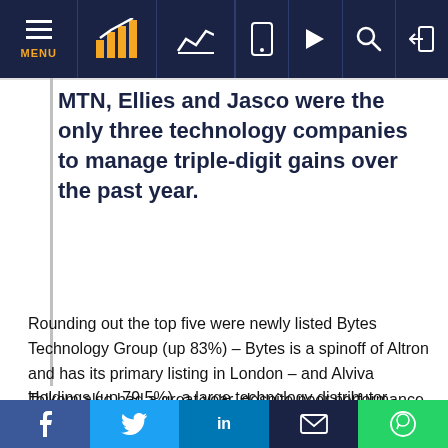MENU | [bar chart logo] | [chart icon] | [mobile icon] | [play icon] | [search icon] | [login icon]
MTN, Ellies and Jasco were the only three technology companies to manage triple-digit gains over the past year.
Rounding out the top five were newly listed Bytes Technology Group (up 83%) – Bytes is a spinoff of Altron and has its primary listing in London – and Alviva Holdings (up 79.5%), a large technology distributor whose brands include Axiz, Pinnacle and, through a recent acquisition, Tarsus.
Telkom also had a great year, despite poor performance
f  |  Twitter  |  in  |  [email]  |  [whatsapp]